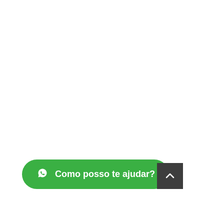[Figure (other): Green WhatsApp floating button with text 'Como posso te ajudar?' and WhatsApp icon on the left]
[Figure (other): Dark gray square scroll-to-top button with white upward chevron arrow]